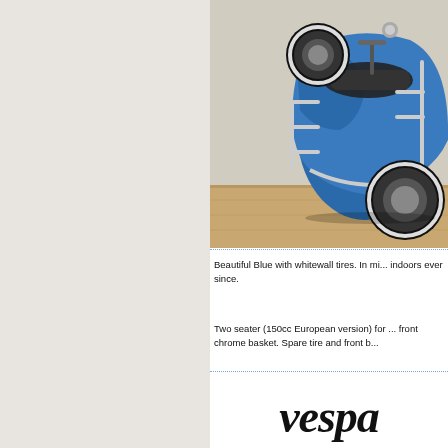[Figure (photo): Blue Vespa scooter photographed indoors, showing spare tire, chrome basket, and whitewall tires. Scooter is parked on wooden floor against white wall.]
Beautiful Blue with whitewall tires. In mi... indoors ever since.
Two seater (150cc European version) for ... front chrome basket. Spare tire and front b...
[Figure (logo): Vespa logo in bold italic black serif font]